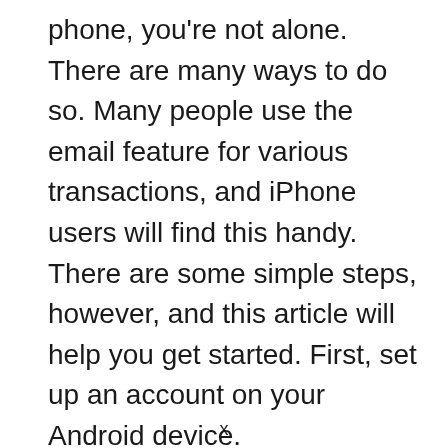phone, you're not alone. There are many ways to do so. Many people use the email feature for various transactions, and iPhone users will find this handy. There are some simple steps, however, and this article will help you get started. First, set up an account on your Android device.
x